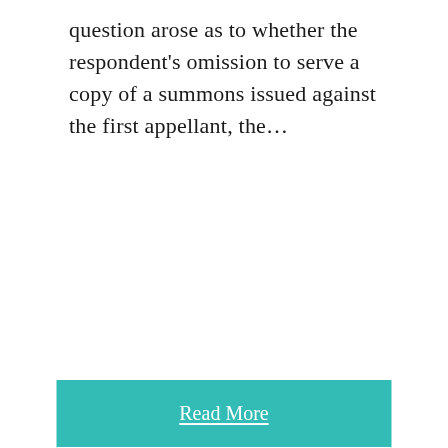question arose as to whether the respondent's omission to serve a copy of a summons issued against the first appellant, the…
Read More
POPIA Enforcement Committee increases the